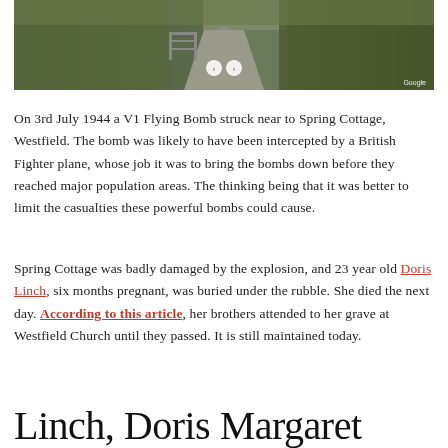[Figure (photo): Google Street View screenshot of a rural lane with metal gate, grassy verges and dense hedgerows/trees on either side. Navigation arrow controls visible at bottom centre and Google watermark at bottom right.]
On 3rd July 1944 a V1 Flying Bomb struck near to Spring Cottage, Westfield. The bomb was likely to have been intercepted by a British Fighter plane, whose job it was to bring the bombs down before they reached major population areas. The thinking being that it was better to limit the casualties these powerful bombs could cause.
Spring Cottage was badly damaged by the explosion, and 23 year old Doris Linch, six months pregnant, was buried under the rubble. She died the next day. According to this article, her brothers attended to her grave at Westfield Church until they passed. It is still maintained today.
Linch, Doris Margaret